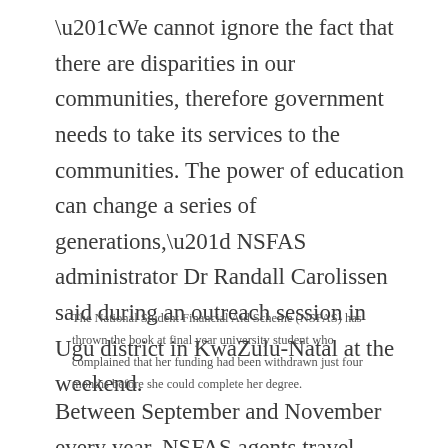“We cannot ignore the fact that there are disparities in our communities, therefore government needs to take its services to the communities. The power of education can change a series of generations,” NSFAS administrator Dr Randall Carolissen said during an outreach session in Ugu district in KwaZulu-Natal at the weekend.
The National Student Financial Aid Scheme (NSFAS) has thrown the book at final year university student who complained that her funding had been withdrawn just four months before she could complete her degree.
Between September and November every year, NSFAS agents travel around the country to give...